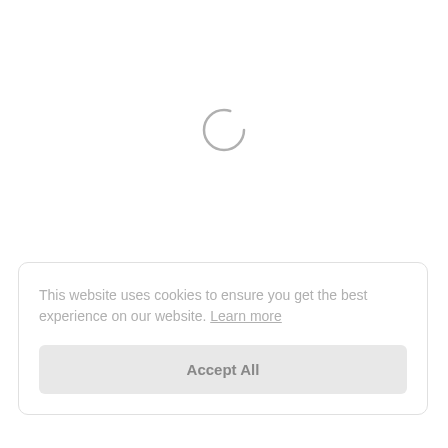[Figure (other): A loading spinner (thin gray circular arc, open at top-right) centered in the upper portion of the page, indicating content is loading.]
This website uses cookies to ensure you get the best experience on our website. Learn more
Accept All